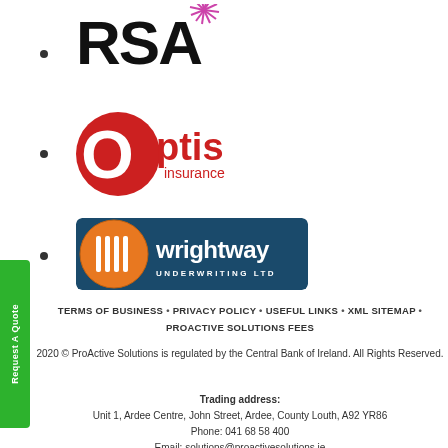[Figure (logo): RSA insurance logo with text RSA and a sunburst/spiky decoration in pink/black]
[Figure (logo): Optis Insurance logo: red circle with white O, red text 'optis' and 'insurance' below]
[Figure (logo): Wrightway Underwriting Ltd logo: dark blue rectangle with orange W icon and white text]
TERMS OF BUSINESS • PRIVACY POLICY • USEFUL LINKS • XML SITEMAP • PROACTIVE SOLUTIONS FEES
2020 © ProActive Solutions is regulated by the Central Bank of Ireland. All Rights Reserved.
Trading address: Unit 1, Ardee Centre, John Street, Ardee, County Louth, A92 YR86 Phone: 041 68 58 400 Email: solutions@proactivesolutions.ie